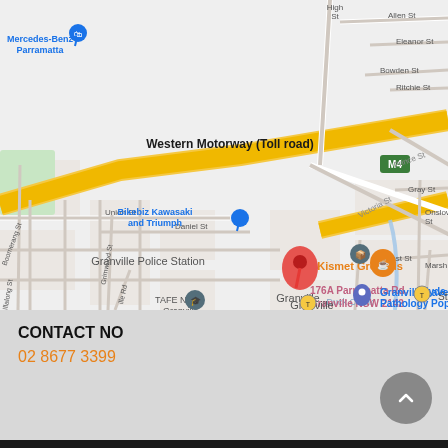[Figure (map): Google Maps screenshot showing Granville NSW area. Shows Western Motorway (Toll road) / M4, Victoria St, Prince St. Key locations: Mercedes-Benz Parramatta, Bikebiz Kawasaki and Triumph, 7-Eleven Granville, Queen Car Wash, Granville Police Station, TAFE NSW Granville, Kismet Grounds, Granville Laverty Pathology Pop Up, Granville train station, Clyde train station. A red location pin marks 176A Parramatta Rd, Granville NSW 2142.]
CONTACT NO
02 8677 3399